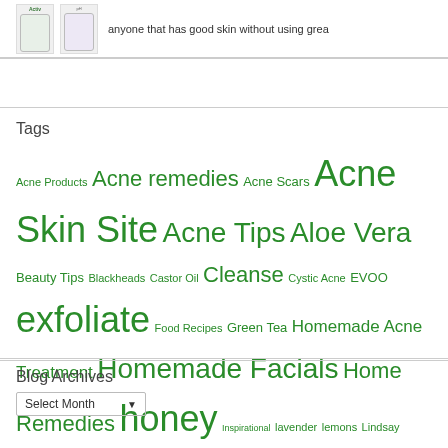[Figure (photo): Two skincare product containers (Activ labeled cream/lotion bottles) shown side by side]
anyone that has good skin without using grea
Tags
Acne Products Acne remedies Acne Scars Acne Skin Site Acne Tips Aloe Vera Beauty Tips Blackheads Castor Oil Cleanse Cystic Acne EVOO exfoliate Food Recipes Green Tea Homemade Acne Treatment Homemade Facials Home Remedies honey Inspirational lavender lemons Lindsay Schroeder lotion Makeup Milk Nutrition Oily Skin Olive Oil Pregnancy Acne Recipes Ripe Avocado Skincare Skin Tips Sleep Smoothie Recipes SPF strawberries Stress Sugar Tablespoon Pure Honey Tablespoons Pure Honey UV Vitamin B2 Vitamin B3
Blog Archives
Select Month